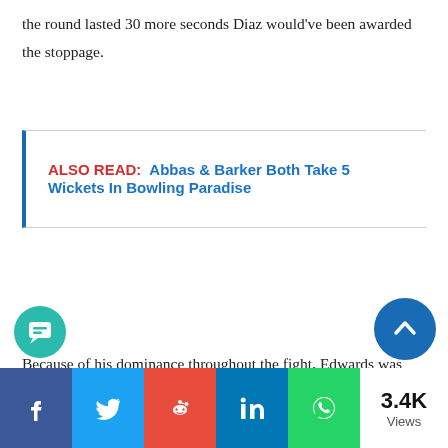the round lasted 30 more seconds Diaz would've been awarded the stoppage.
ALSO READ:  Abbas & Barker Both Take 5 Wickets In Bowling Paradise
Because of his dominance throughout the fight, Edwards was correctly awarded the unanimous decision victory. However, the crowd was definitely pro-Diaz; he received a rousing ovation after the match.
Deiveson Figueiredo vs. Brandon
3.4K Views